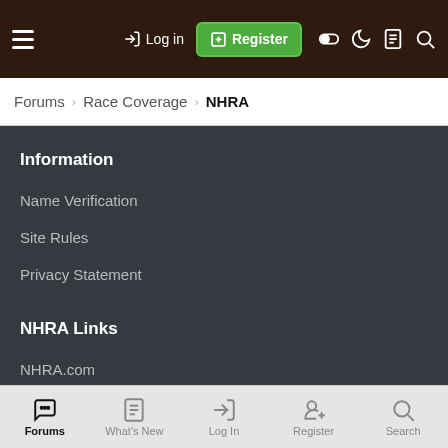Log in | Register
Forums > Race Coverage > NHRA
Information
Name Verification
Site Rules
Privacy Statement
NHRA Links
NHRA.com
2020 Schedule
Event Entry Status
Forums | What's New | Log In | Register | Search